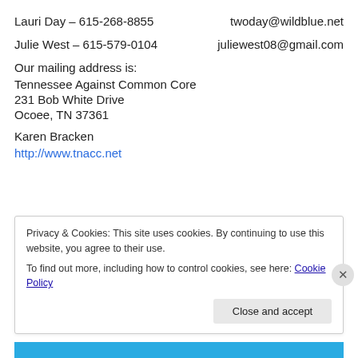Lauri Day – 615-268-8855    twoday@wildblue.net
Julie West – 615-579-0104    juliewest08@gmail.com
Our mailing address is:
Tennessee Against Common Core
231 Bob White Drive
Ocoee, TN 37361
Karen Bracken
http://www.tnacc.net
Privacy & Cookies: This site uses cookies. By continuing to use this website, you agree to their use.
To find out more, including how to control cookies, see here: Cookie Policy
Close and accept